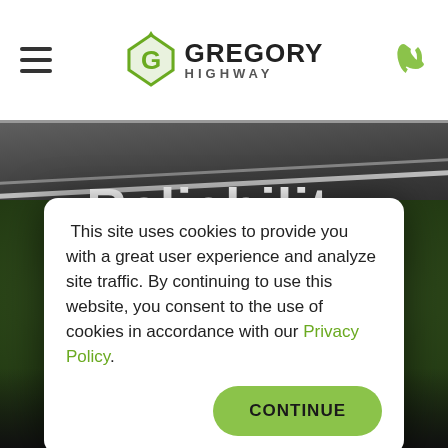[Figure (logo): Gregory Highway logo with green diamond G icon and bold text 'GREGORY HIGHWAY']
[Figure (photo): Aerial view of curved highway road through green foliage, with large white text 'Reliability' overlaid]
This site uses cookies to provide you with a great user experience and analyze site traffic. By continuing to use this website, you consent to the use of cookies in accordance with our Privacy Policy.
CONTINUE
with Gregory Highway, the national leader in